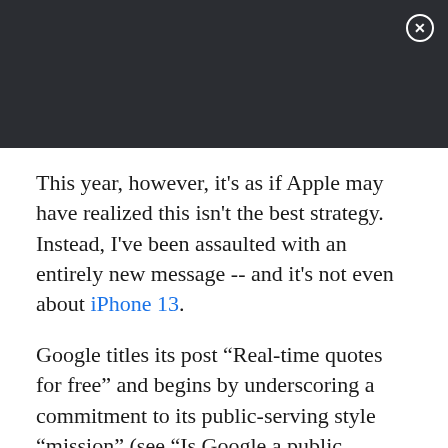[Figure (other): Dark header bar with close (X) button in top-right corner]
This year, however, it's as if Apple may have realized this isn't the best strategy. Instead, I've been assaulted with an entirely new message -- and it's not even about iPhone 13.
Google titles its post “Real-time quotes for free” and begins by underscoring a commitment to its public-serving style “mission” (see “Is Google a public service?”):
Honestly, I have little idea. I know it's some sort of bargain bundle of software, with various tiers